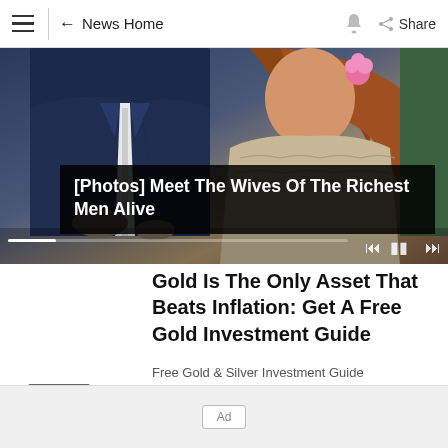≡  ← News Home  🔔  Share
[Figure (photo): Video player showing two people (man in dark suit, woman in lace top with pink flower) with media controls and progress bar. Caption overlay reads: [Photos] Meet The Wives Of The Richest Men Alive]
Gold Is The Only Asset That Beats Inflation: Get A Free Gold Investment Guide
Free Gold & Silver Investment Guide
Promoted
Ad